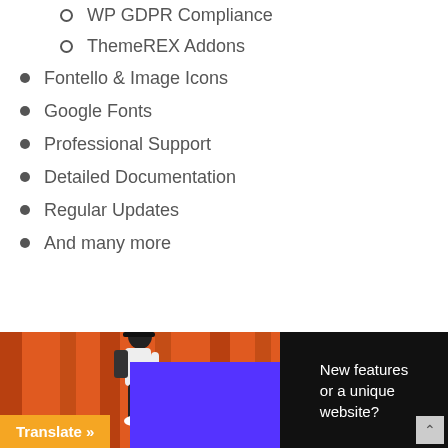WP GDPR Compliance
ThemeREX Addons
Fontello & Image Icons
Google Fonts
Professional Support
Detailed Documentation
Regular Updates
And many more
[Figure (photo): A person with a backpack walking in front of orange slatted wall, with a purple rectangle overlay and black right panel reading 'New features or a unique website?']